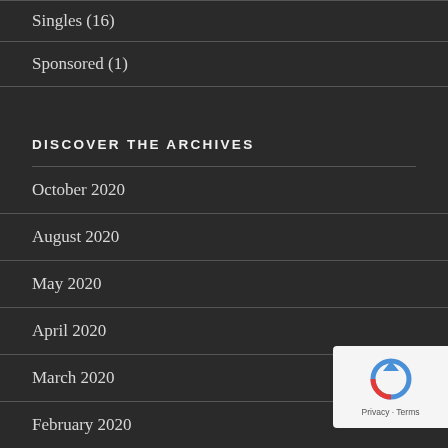Singles (16)
Sponsored (1)
DISCOVER THE ARCHIVES
October 2020
August 2020
May 2020
April 2020
March 2020
February 2020
January 2020